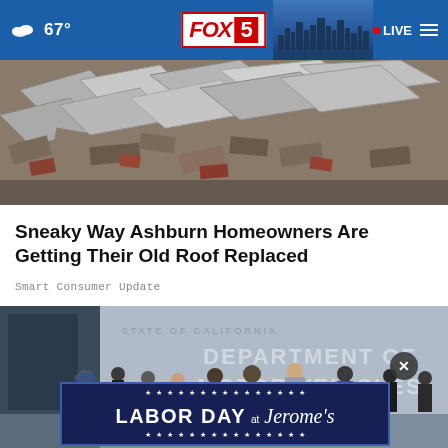67° FOX 5 LIVE
[Figure (photo): Pile of old roofing tiles and debris, broken concrete slabs]
Sneaky Way Ashburn Homeowners Are Getting Their Old Roof Replaced
Smart Consumer Update
[Figure (photo): People standing in line outside the State of California Department of Motor Vehicles building]
LABOR DAY AT Jerome's